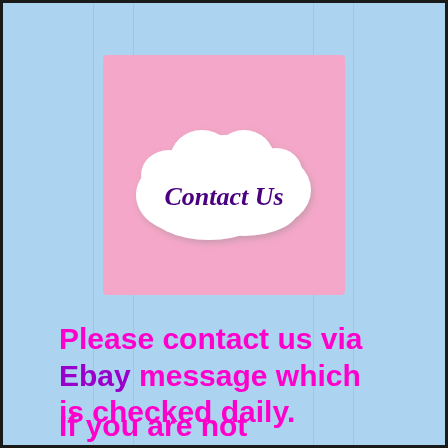[Figure (illustration): Pink rectangular banner with a white cloud shape containing the text 'Contact Us' in dark purple serif font]
Please contact us via Ebay message which is checked daily.
If you are not